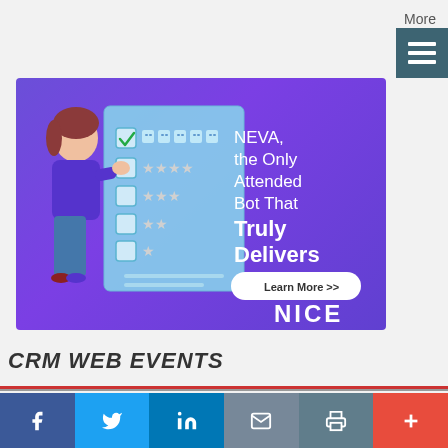More
[Figure (illustration): Advertisement for NICE NEVA attended bot. Purple background with a 3D female character holding a checklist with robot icons and star ratings. Text reads: NEVA, the Only Attended Bot That Truly Delivers. Learn More >> button. NICE logo at bottom right.]
CRM WEB EVENTS
[Figure (infographic): Bottom social sharing bar with Facebook, Twitter, LinkedIn, Email, Print, and Plus buttons]